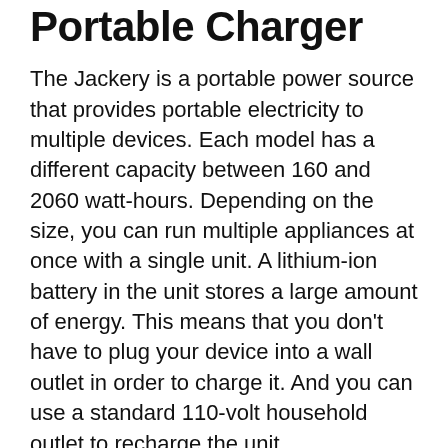Portable Charger
The Jackery is a portable power source that provides portable electricity to multiple devices. Each model has a different capacity between 160 and 2060 watt-hours. Depending on the size, you can run multiple appliances at once with a single unit. A lithium-ion battery in the unit stores a large amount of energy. This means that you don't have to plug your device into a wall outlet in order to charge it. And you can use a standard 110-volt household outlet to recharge the unit.
The Jackery Explorer 500 features a pure sine wave inverter, which mimics the sine wave of AC. This inverter ensures motors